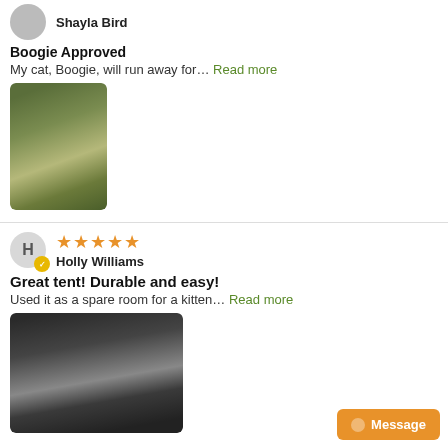Shayla Bird
Boogie Approved
My cat, Boogie, will run away for… Read more
[Figure (photo): A cat near a dark camping tent on grass]
[Figure (other): Five orange star rating]
Holly Williams
Great tent! Durable and easy!
Used it as a spare room for a kitten… Read more
[Figure (photo): Inside view of a dark tent with a white panel visible]